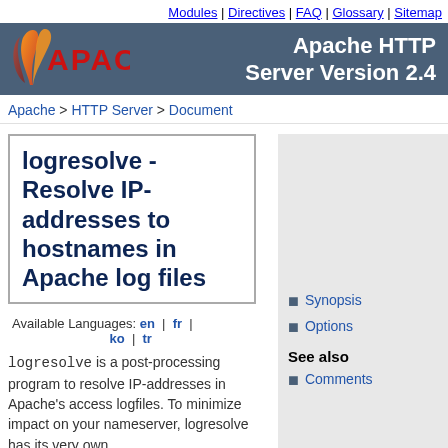Modules | Directives | FAQ | Glossary | Sitemap
[Figure (logo): Apache HTTP Server Version 2.4 logo banner with Apache feather logo on dark blue-grey background]
Apache > HTTP Server > Document
logresolve - Resolve IP-addresses to hostnames in Apache log files
Available Languages: en | fr | ko | tr
Synopsis
Options
See also
Comments
logresolve is a post-processing program to resolve IP-addresses in Apache's access logfiles. To minimize impact on your nameserver, logresolve has its very own